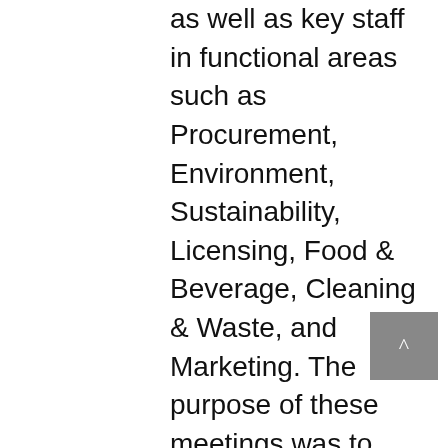as well as key staff in functional areas such as Procurement, Environment, Sustainability, Licensing, Food & Beverage, Cleaning & Waste, and Marketing. The purpose of these meetings was to confirm the vision for the project and begin the design of a comprehensive environmental and sustainable procurement program. Another main focus was to begin to identify high profile products and services for showcasing a green and sustainable Olympic Games. Potential areas of opportunity include local food, products